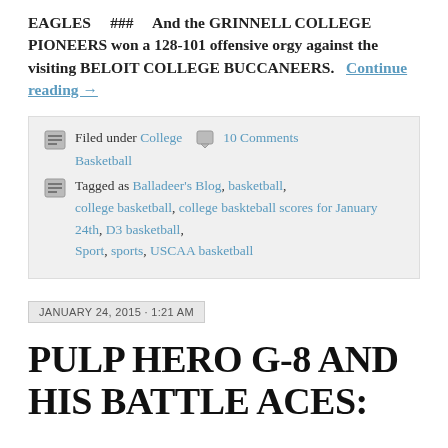EAGLES    ###    And the GRINNELL COLLEGE PIONEERS won a 128-101 offensive orgy against the visiting BELOIT COLLEGE BUCCANEERS.   Continue reading →
Filed under College Basketball  10 Comments
Tagged as Balladeer's Blog, basketball, college basketball, college baskteball scores for January 24th, D3 basketball, Sport, sports, USCAA basketball
JANUARY 24, 2015 · 1:21 AM
PULP HERO G-8 AND HIS BATTLE ACES: